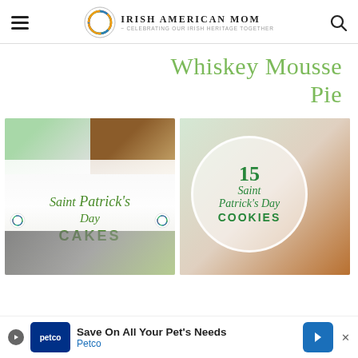Irish American Mom - Celebrating Our Irish Heritage Together
Whiskey Mousse Pie
[Figure (photo): Saint Patrick's Day Cakes collage with green and layered cakes]
[Figure (photo): 15 Saint Patrick's Day Cookies collage with shamrock cookies]
[Figure (other): Petco advertisement banner - Save On All Your Pet's Needs]